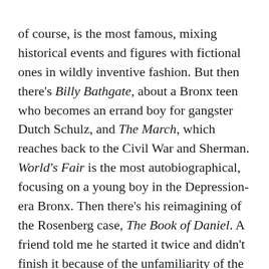of course, is the most famous, mixing historical events and figures with fictional ones in wildly inventive fashion. But then there's Billy Bathgate, about a Bronx teen who becomes an errand boy for gangster Dutch Schulz, and The March, which reaches back to the Civil War and Sherman. World's Fair is the most autobiographical, focusing on a young boy in the Depression-era Bronx. Then there's his reimagining of the Rosenberg case, The Book of Daniel. A friend told me he started it twice and didn't finish it because of the unfamiliarity of the narrative style, its mix of memories and documents. But on a third reading, he became totally immersed and found it brilliant.
Doctorow's books are evocative, elegant, experimental. I met him a couple of times and interviewed him back in the early '90s right before